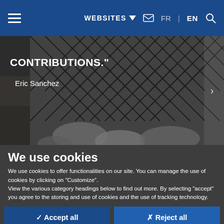WEBSITES  FR | EN
[Figure (photo): Background photo showing cargo nets with bundled items, partially obscured. Overlaid with bold white uppercase text reading 'CONTRIBUTIONS.' and attribution 'Eric Sanchez']
We use cookies
We use cookies to offer functionalities on our site. You can manage the use of cookies by clicking on "Customize".
View the various category headings below to find out more. By selecting "accept" you agree to the storing and use of cookies and the use of tracking technology.
✓ Accept all
✗ Reject all
Customize